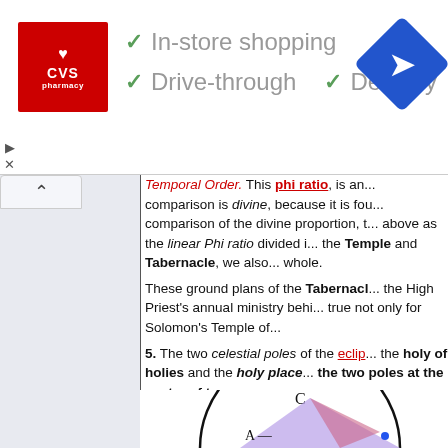[Figure (infographic): CVS Pharmacy advertisement banner showing logo, checkmarks for In-store shopping, Drive-through, and Delivery, plus a navigation icon]
Temporal Order. This phi ratio, is an... comparison is divine, because it is fou... comparison of the divine proportion, t... above as the linear Phi ratio divided i... the Temple and Tabernacle, we also... whole.
These ground plans of the Tabernacl... the High Priest's annual ministry behi... true not only for Solomon's Temple of...
5. The two celestial poles of the eclip... the holy of holies and the holy place... the two poles at the center of two s...
[Figure (illustration): Geometric diagram showing circles with points labeled C and A, with shaded triangular regions in purple/lavender]